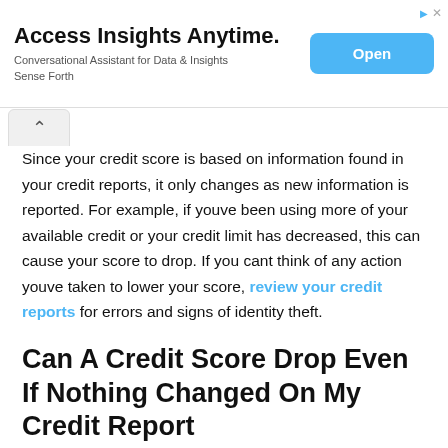[Figure (other): Advertisement banner: 'Access Insights Anytime. Conversational Assistant for Data & Insights Sense Forth' with an 'Open' button]
Since your credit score is based on information found in your credit reports, it only changes as new information is reported. For example, if youve been using more of your available credit or your credit limit has decreased, this can cause your score to drop. If you cant think of any action youve taken to lower your score, review your credit reports for errors and signs of identity theft.
Can A Credit Score Drop Even If Nothing Changed On My Credit Report